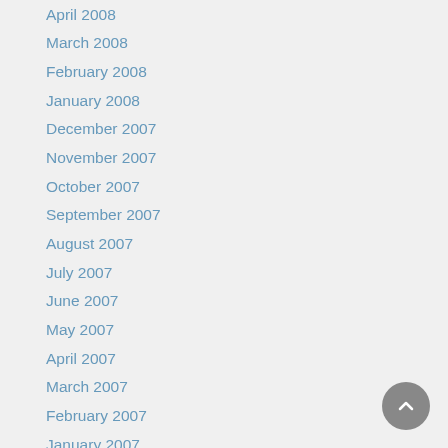April 2008
March 2008
February 2008
January 2008
December 2007
November 2007
October 2007
September 2007
August 2007
July 2007
June 2007
May 2007
April 2007
March 2007
February 2007
January 2007
December 2006
November 2006
October 2006
September 2006